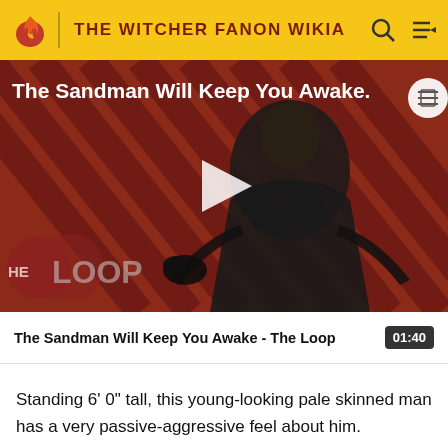THE WITCHER FANON WIKIA
[Figure (screenshot): Video thumbnail showing a dark-robed pale man against a red diagonal-striped background with 'THE LOOP' logo. Title overlay reads 'The Sandman Will Keep You Awake.' Play button in center.]
The Sandman Will Keep You Awake - The Loop  01:40
Standing 6' 0" tall, this young-looking pale skinned man has a very passive-aggressive feel about him.